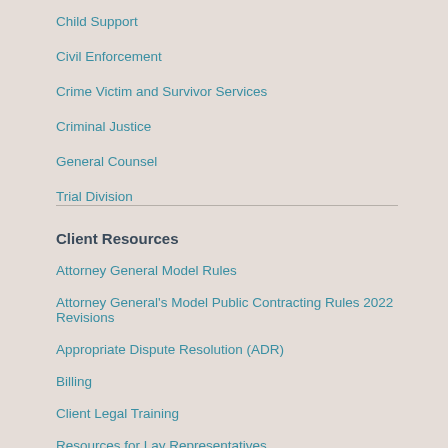Child Support
Civil Enforcement
Crime Victim and Survivor Services
Criminal Justice
General Counsel
Trial Division
Client Resources
Attorney General Model Rules
Attorney General's Model Public Contracting Rules 2022 Revisions
Appropriate Dispute Resolution (ADR)
Billing
Client Legal Training
Resources for Lay Representatives
Agency Contact Attorneys